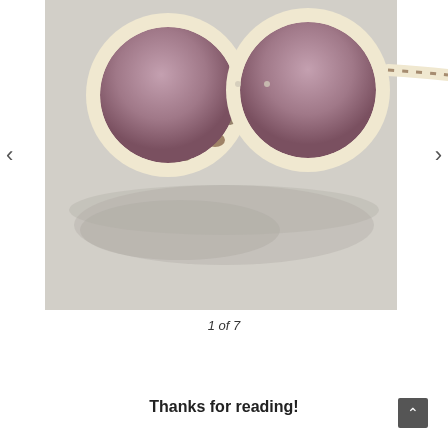[Figure (photo): Close-up photo of oversized round sunglasses with tortoise-shell / leopard-print cream and brown frames, gradient mauve-brown lenses, lying on a light gray surface. Navigation arrows on left and right sides.]
1 of 7
Thanks for reading!